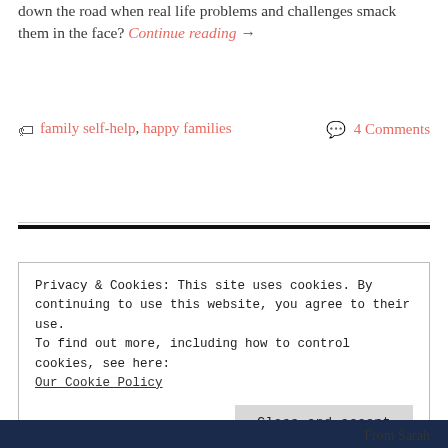down the road when real life problems and challenges smack them in the face? Continue reading →
🏷 family self-help, happy families    💬 4 Comments
Privacy & Cookies: This site uses cookies. By continuing to use this website, you agree to their use. To find out more, including how to control cookies, see here: Our Cookie Policy
Close and accept
From Sarah